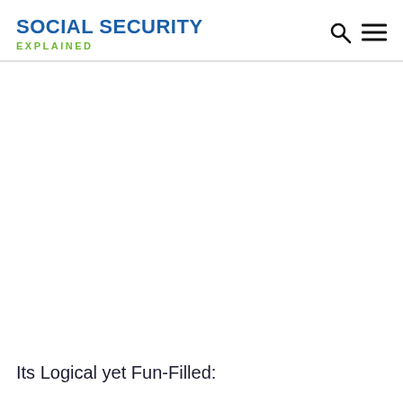SOCIAL SECURITY EXPLAINED
Its Logical yet Fun-Filled: